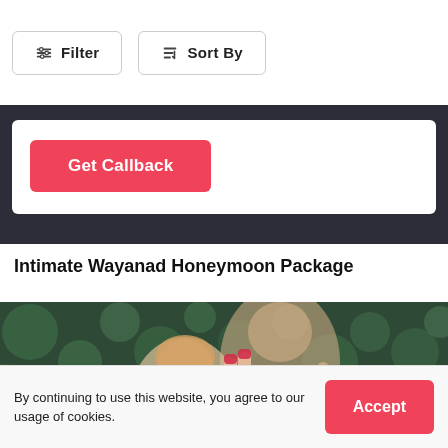Filter   Sort By
Get Callback
Intimate Wayanad Honeymoon Package
[Figure (photo): A couple making peace signs with their hands, outdoors with green bokeh background]
By continuing to use this website, you agree to our usage of cookies.
Accept